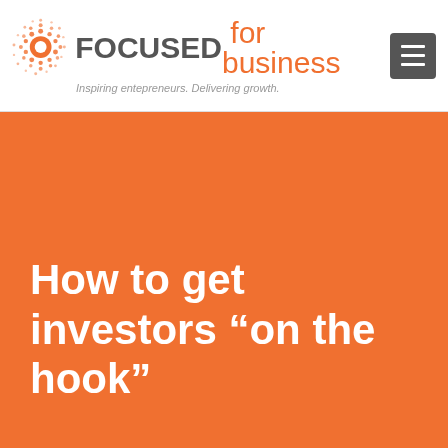FOCUSED for business — Inspiring entepreneurs. Delivering growth.
How to get investors “on the hook”